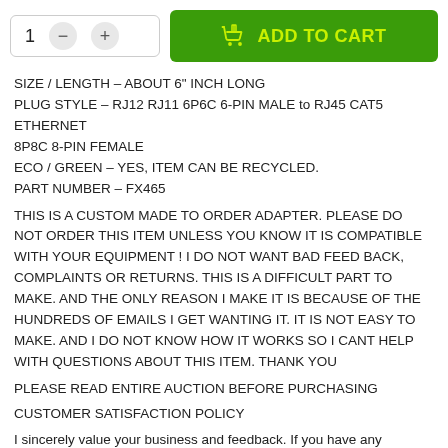[Figure (screenshot): Add to cart UI with quantity selector (showing 1, minus and plus buttons) and green ADD TO CART button with shopping bag icon]
SIZE / LENGTH – ABOUT 6" INCH LONG
PLUG STYLE – RJ12 RJ11 6P6C 6-PIN MALE to RJ45 CAT5 ETHERNET 8P8C 8-PIN FEMALE
ECO / GREEN – YES, ITEM CAN BE RECYCLED.
PART NUMBER – FX465
THIS IS A CUSTOM MADE TO ORDER ADAPTER. PLEASE DO NOT ORDER THIS ITEM UNLESS YOU KNOW IT IS COMPATIBLE WITH YOUR EQUIPMENT ! I DO NOT WANT BAD FEED BACK, COMPLAINTS OR RETURNS. THIS IS A DIFFICULT PART TO MAKE. AND THE ONLY REASON I MAKE IT IS BECAUSE OF THE HUNDREDS OF EMAILS I GET WANTING IT. IT IS NOT EASY TO MAKE. AND I DO NOT KNOW HOW IT WORKS SO I CANT HELP WITH QUESTIONS ABOUT THIS ITEM. THANK YOU
PLEASE READ ENTIRE AUCTION BEFORE PURCHASING
CUSTOMER SATISFACTION POLICY
I sincerely value your business and feedback. If you have any problems with the my product, I am always happy to refund or exchange items. Send me a message through eBay messages